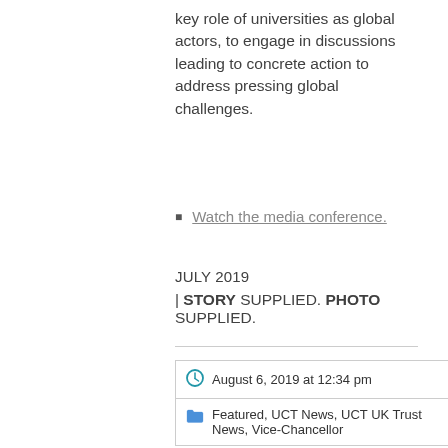key role of universities as global actors, to engage in discussions leading to concrete action to address pressing global challenges.
Watch the media conference.
JULY 2019
| STORY SUPPLIED. PHOTO SUPPLIED.
August 6, 2019 at 12:34 pm
Featured, UCT News, UCT UK Trust News, Vice-Chancellor
Share via:
NEWS
Select Category